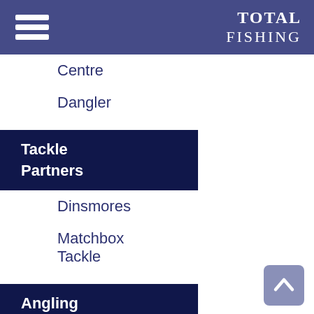TOTAL FISHING
Centre
Dangler
Tackle Partners
Dinsmores
Matchbox Tackle
Angling Offers/Servic
Esselle
Pole